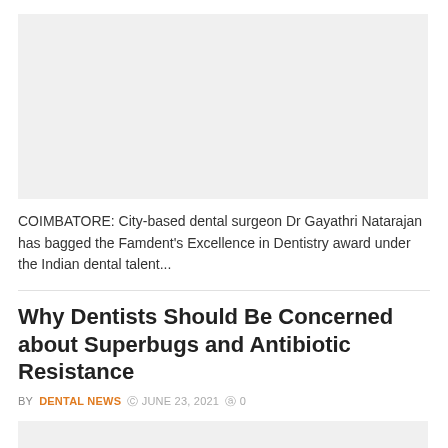[Figure (photo): Placeholder image area for a dental article, light gray background]
COIMBATORE: City-based dental surgeon Dr Gayathri Natarajan has bagged the Famdent's Excellence in Dentistry award under the Indian dental talent...
Why Dentists Should Be Concerned about Superbugs and Antibiotic Resistance
BY DENTAL NEWS  JUNE 23, 2021  0
[Figure (photo): Placeholder image area for the superbugs article, light gray background]